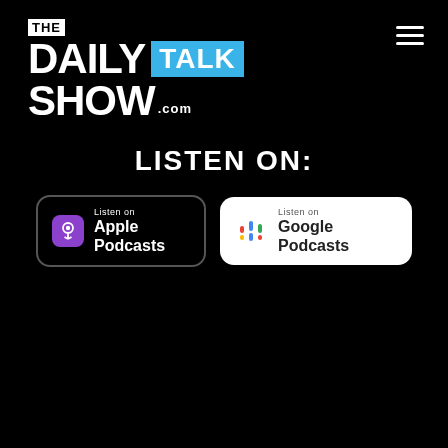[Figure (logo): The Daily Talk Show logo with white text on black background, 'TALK' in blue box, and '.com' suffix]
LISTEN ON:
[Figure (other): Apple Podcasts listen badge - black background with purple podcast icon]
[Figure (other): Google Podcasts listen badge - white background with colorful Google Podcasts icon]